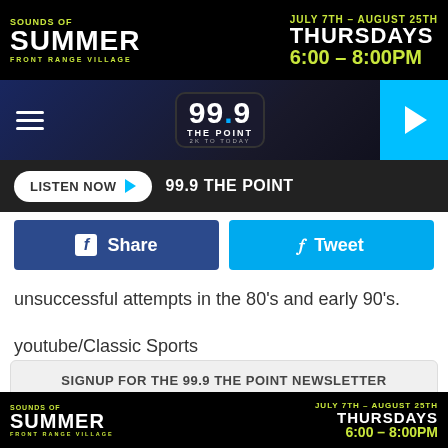[Figure (screenshot): Sounds of Summer – Front Range Village banner ad: July 7th – August 25th, Thursdays 6:00–8:00PM]
[Figure (screenshot): 99.9 The Point radio station navigation bar with hamburger menu, logo, and play button]
[Figure (screenshot): Listen Now button bar showing 99.9 THE POINT]
[Figure (screenshot): Facebook Share and Twitter Tweet social buttons]
unsuccessful attempts in the 80's and early 90's.
youtube/Classic Sports
SIGNUP FOR THE 99.9 THE POINT NEWSLETTER
Email Address
[Figure (screenshot): Sounds of Summer – Front Range Village bottom banner ad: July 7th – August 25th, Thursdays 6:00–8:00PM]